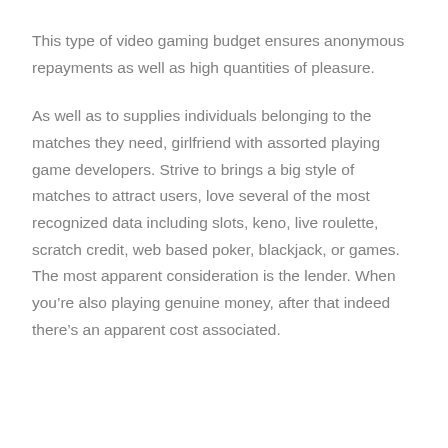This type of video gaming budget ensures anonymous repayments as well as high quantities of pleasure.
As well as to supplies individuals belonging to the matches they need, girlfriend with assorted playing game developers. Strive to brings a big style of matches to attract users, love several of the most recognized data including slots, keno, live roulette, scratch credit, web based poker, blackjack, or games. The most apparent consideration is the lender. When you’re also playing genuine money, after that indeed there’s an apparent cost associated.